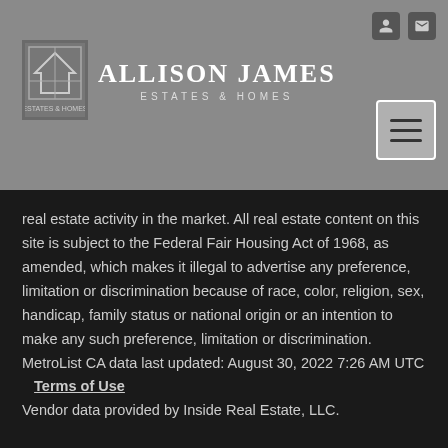Allison James Estates & Homes
real estate activity in the market. All real estate content on this site is subject to the Federal Fair Housing Act of 1968, as amended, which makes it illegal to advertise any preference, limitation or discrimination because of race, color, religion, sex, handicap, family status or national origin or an intention to make any such preference, limitation or discrimination. MetroList CA data last updated: August 30, 2022 7:26 AM UTC   Terms of Use   Vendor data provided by Inside Real Estate, LLC.
[Figure (logo): Broker Reciprocity logo — house icon with BROKER text and Reciprocity label]
The content relating to real estate for sale on this website comes in part from the MLS of Central Oregon. Real estate listings held by Brokerages other than Allison James...